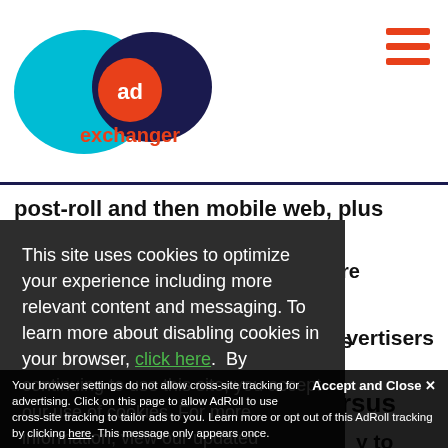[Figure (logo): AdExchanger logo: cyan and dark blue overlapping ovals with orange 'ad' circle and orange 'exchanger' text]
post-roll and then mobile web, plus going into in-
This site uses cookies to optimize your experience including more relevant content and messaging. To learn more about disabling cookies in your browser, click here. By continuing to use this site, you accept our use of cookies. For more information, view our updated Privacy Policy.
rsus
y to
re
s
Media. In today's environment, advertisers are
Your browser settings do not allow cross-site tracking for advertising. Click on this page to allow AdRoll to use cross-site tracking to tailor ads to you. Learn more or opt out of this AdRoll tracking by clicking here. This message only appears once.